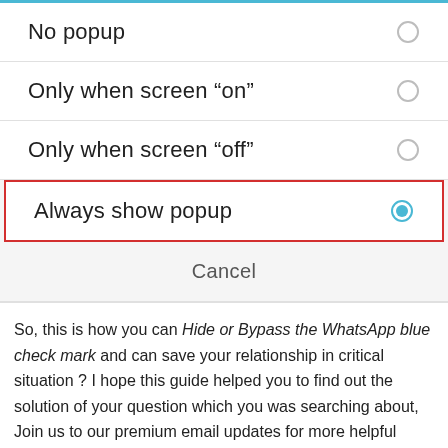No popup
Only when screen “on”
Only when screen “off”
Always show popup
Cancel
So, this is how you can Hide or Bypass the WhatsApp blue check mark and can save your relationship in critical situation ? I hope this guide helped you to find out the solution of your question which you was searching about, Join us to our premium email updates for more helpful articles about android tips and tricks.